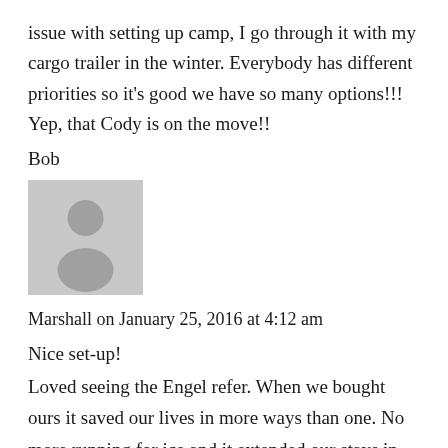issue with setting up camp, I go through it with my cargo trailer in the winter. Everybody has different priorities so it's good we have so many options!!! Yep, that Cody is on the move!!
Bob
[Figure (photo): Generic user avatar placeholder image showing a silhouette of a person on a grey background]
Marshall on January 25, 2016 at 4:12 am
Nice set-up!
Loved seeing the Engel refer. When we bought ours it saved our lives in more ways than one. No more running for ice and it extended our stays in the wilderness by weeks. Plus, we get to eat our leftovers